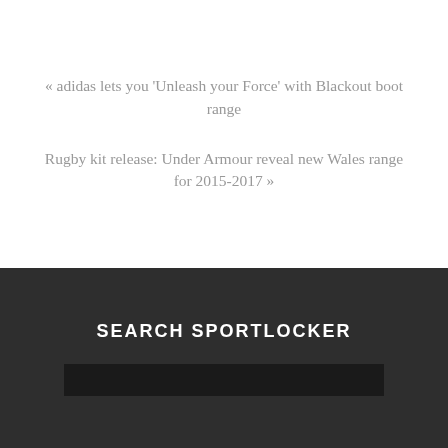« adidas lets you 'Unleash your Force' with Blackout boot range
Rugby kit release: Under Armour reveal new Wales range for 2015-2017 »
SEARCH SPORTLOCKER